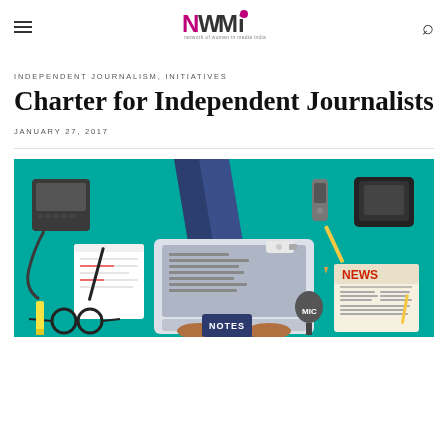NWMI — Network of Women in Media, India
INDEPENDENT JOURNALISM, INITIATIVES
Charter for Independent Journalists
JANUARY 27, 2017
[Figure (illustration): Flat design illustration of a journalist's desk from above with teal background, showing a laptop with hands typing, telephone, notepad with pen, USB drive, voice recorder, microphone, newspaper with NEWS headline, camera bag, glasses, highlighter, and a NOTES notebook.]